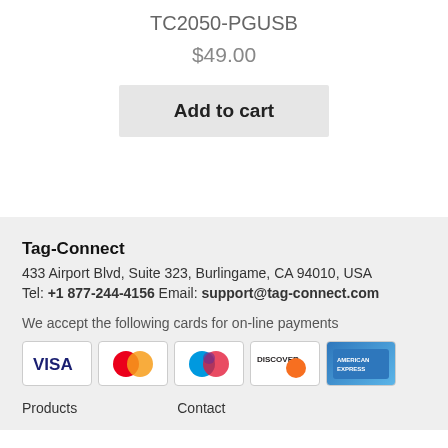TC2050-PGUSB
$49.00
Add to cart
Tag-Connect
433 Airport Blvd, Suite 323, Burlingame, CA 94010, USA
Tel: +1 877-244-4156 Email: support@tag-connect.com
We accept the following cards for on-line payments
[Figure (other): Payment card logos: VISA, MasterCard, Maestro, Discover, American Express]
Products   Contact